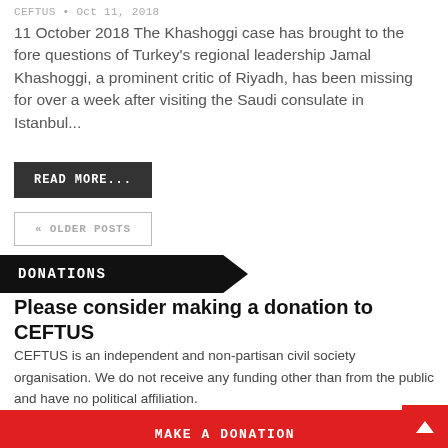CEFTUS • Oct 11, 2018
11 October 2018 The Khashoggi case has brought to the fore questions of Turkey's regional leadership Jamal Khashoggi, a prominent critic of Riyadh, has been missing for over a week after visiting the Saudi consulate in Istanbul...
READ MORE...
« OLDER POSTS
DONATIONS
Please consider making a donation to CEFTUS
CEFTUS is an independent and non-partisan civil society organisation. We do not receive any funding other than from the public and have no political affiliation.
MAKE A DONATION